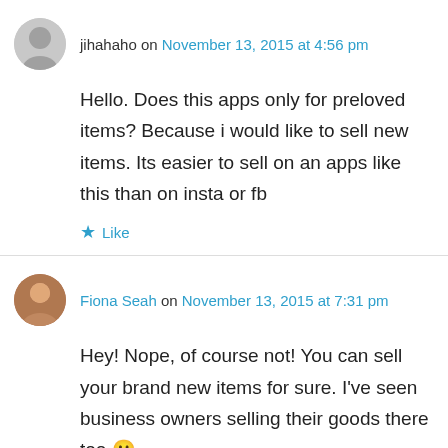jihahaho on November 13, 2015 at 4:56 pm
Hello. Does this apps only for preloved items? Because i would like to sell new items. Its easier to sell on an apps like this than on insta or fb
Like
Fiona Seah on November 13, 2015 at 7:31 pm
Hey! Nope, of course not! You can sell your brand new items for sure. I've seen business owners selling their goods there too 🙂
Like
Danielle on December 17, 2015 at 11:51 pm